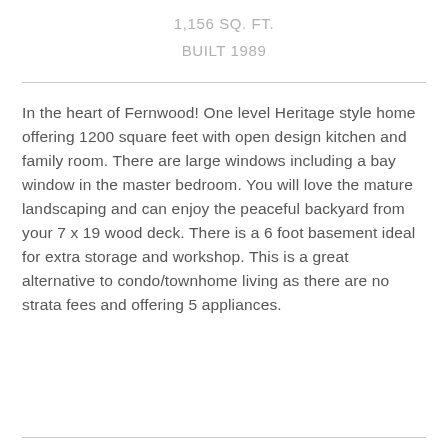1,156 SQ. FT.
BUILT 1989
In the heart of Fernwood! One level Heritage style home offering 1200 square feet with open design kitchen and family room. There are large windows including a bay window in the master bedroom. You will love the mature landscaping and can enjoy the peaceful backyard from your 7 x 19 wood deck. There is a 6 foot basement ideal for extra storage and workshop. This is a great alternative to condo/townhome living as there are no strata fees and offering 5 appliances.